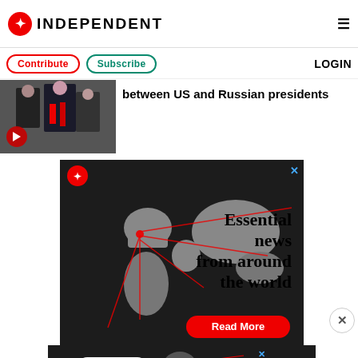INDEPENDENT
Contribute | Subscribe | LOGIN
between US and Russian presidents
[Figure (screenshot): Independent newspaper website screenshot showing logo, navigation buttons (Contribute, Subscribe, LOGIN), a news article thumbnail with video play button showing men in suits with red ties, headline text 'between US and Russian presidents', and two advertisement banners for The Independent showing a world map with red lines and text 'Essential news from around the world' with Read More buttons]
Essential news from around the world